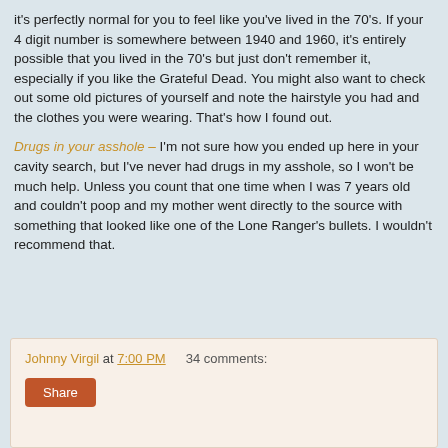it's perfectly normal for you to feel like you've lived in the 70's. If your 4 digit number is somewhere between 1940 and 1960, it's entirely possible that you lived in the 70's but just don't remember it, especially if you like the Grateful Dead. You might also want to check out some old pictures of yourself and note the hairstyle you had and the clothes you were wearing. That's how I found out.
Drugs in your asshole – I'm not sure how you ended up here in your cavity search, but I've never had drugs in my asshole, so I won't be much help. Unless you count that one time when I was 7 years old and couldn't poop and my mother went directly to the source with something that looked like one of the Lone Ranger's bullets. I wouldn't recommend that.
Johnny Virgil at 7:00 PM   34 comments:   Share